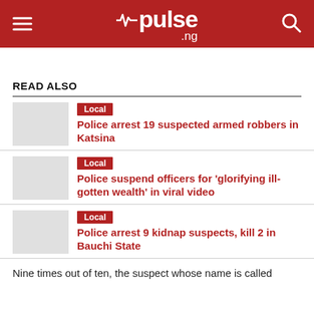pulse.ng
READ ALSO
Local
Police arrest 19 suspected armed robbers in Katsina
Local
Police suspend officers for 'glorifying ill-gotten wealth' in viral video
Local
Police arrest 9 kidnap suspects, kill 2 in Bauchi State
Nine times out of ten, the suspect whose name is called